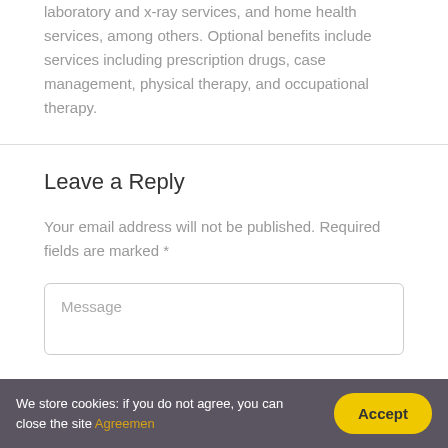laboratory and x-ray services, and home health services, among others. Optional benefits include services including prescription drugs, case management, physical therapy, and occupational therapy.
Leave a Reply
Your email address will not be published. Required fields are marked *
Message
We store cookies: if you do not agree, you can close the site Agreemen